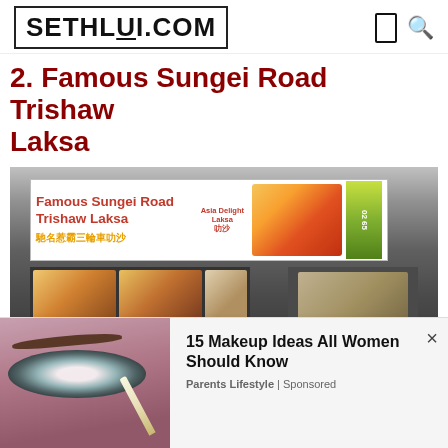SETHLUI.COM
2. Famous Sungei Road Trishaw Laksa
[Figure (photo): Photo of Famous Sungei Road Trishaw Laksa food stall with signboard showing 'Famous Sungei Road Trishaw Laksa' in English and Chinese characters, food menu displays, and customers queuing at the counter]
[Figure (photo): Advertisement banner showing a woman's eye with makeup pencil — '15 Makeup Ideas All Women Should Know' ad from Parents Lifestyle | Sponsored]